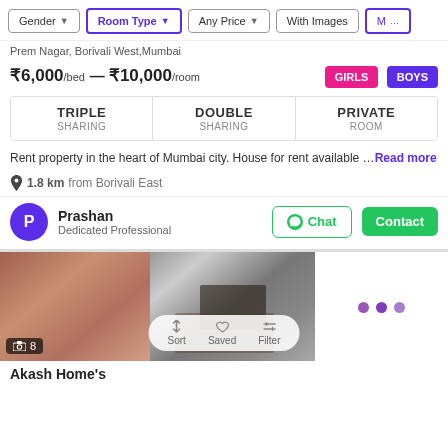Gender | Room Type | Any Price | With Images | More
Prem Nagar, Borivali West, Mumbai
₹6,000/bed — ₹10,000/room  GIRLS  BOYS
| TRIPLE SHARING | DOUBLE SHARING | PRIVATE ROOM |
| --- | --- | --- |
Rent property in the heart of Mumbai city. House for rent available ... Read more
1.8 km from Borivali East
Prashan
Dedicated Professional
[Figure (photo): Room photos showing interior of a rental property; image count badge shows 8]
Akash Home's